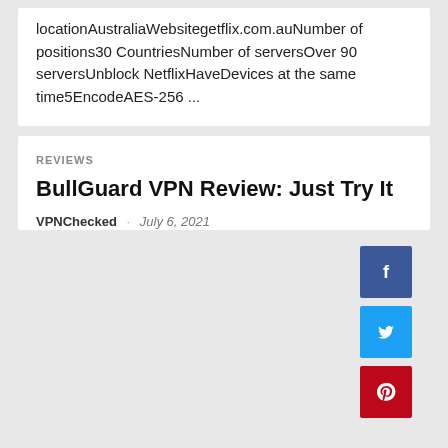locationAustraliaWebsitegetflix.com.auNumber of positions30 CountriesNumber of serversOver 90 serversUnblock NetflixHaveDevices at the same time5EncodeAES-256 ...
REVIEWS
BullGuard VPN Review: Just Try It
VPNChecked · July 6, 2021
[Figure (other): Social share buttons: Facebook (blue), Twitter (light blue), Pinterest (red)]